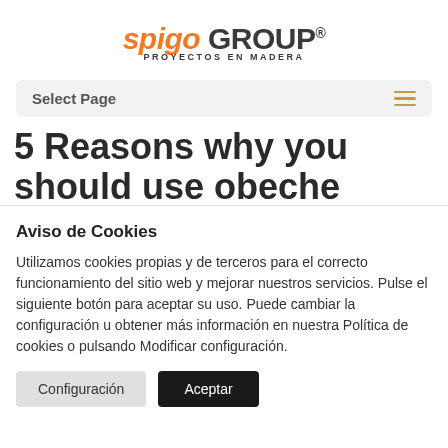[Figure (logo): Spigo Group logo with orange italic 'spigo' and dark 'GROUP' text, registered trademark symbol, and 'PROYECTOS EN MADERA' subtitle]
Select Page
5 Reasons why you should use obeche wood
Aviso de Cookies
Utilizamos cookies propias y de terceros para el correcto funcionamiento del sitio web y mejorar nuestros servicios. Pulse el siguiente botón para aceptar su uso. Puede cambiar la configuración u obtener más información en nuestra Política de cookies o pulsando Modificar configuración.
Configuración  Aceptar